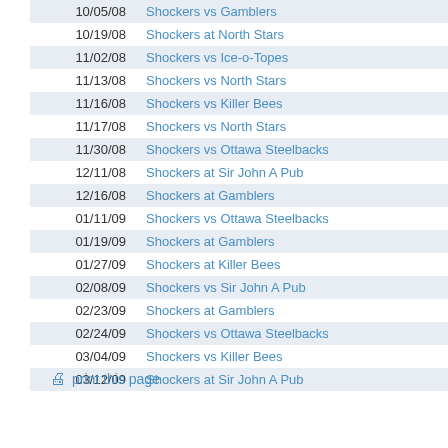| Date | Game |
| --- | --- |
| 10/05/08 | Shockers vs Gamblers |
| 10/19/08 | Shockers at North Stars |
| 11/02/08 | Shockers vs Ice-o-Topes |
| 11/13/08 | Shockers vs North Stars |
| 11/16/08 | Shockers vs Killer Bees |
| 11/17/08 | Shockers vs North Stars |
| 11/30/08 | Shockers vs Ottawa Steelbacks |
| 12/11/08 | Shockers at Sir John A Pub |
| 12/16/08 | Shockers at Gamblers |
| 01/11/09 | Shockers vs Ottawa Steelbacks |
| 01/19/09 | Shockers at Gamblers |
| 01/27/09 | Shockers at Killer Bees |
| 02/08/09 | Shockers vs Sir John A Pub |
| 02/23/09 | Shockers at Gamblers |
| 02/24/09 | Shockers vs Ottawa Steelbacks |
| 03/04/09 | Shockers vs Killer Bees |
| 03/12/09 | Shockers at Sir John A Pub |
print this page